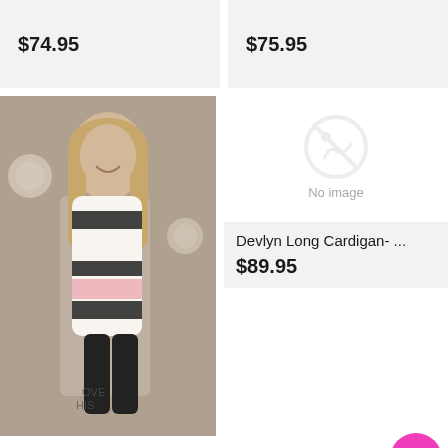$74.95
$75.95
[Figure (photo): Woman modeling a striped black, white, and pink cardigan in a boutique setting]
Oxnard Cardigan
$33.00  $65.95
[Figure (other): No image placeholder icon]
Devlyn Long Cardigan- ...
$89.95